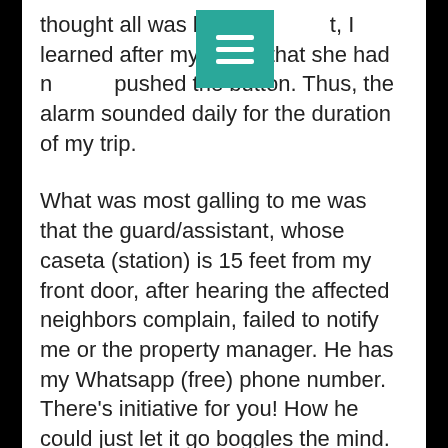thought all was handled, I learned after my return that she had never pushed the button. Thus, the alarm sounded daily for the duration of my trip.

What was most galling to me was that the guard/assistant, whose caseta (station) is 15 feet from my front door, after hearing the affected neighbors complain, failed to notify me or the property manager. He has my Whatsapp (free) phone number. There’s initiative for you! How he could just let it go boggles the mind. Needless to say, when he informed me that my neighbors were pissed off, I was mortified. I’m already a gringo and, by definition, arrogant and selfish; but knowing that I had been the source of annoyance and disturbance really upset me.